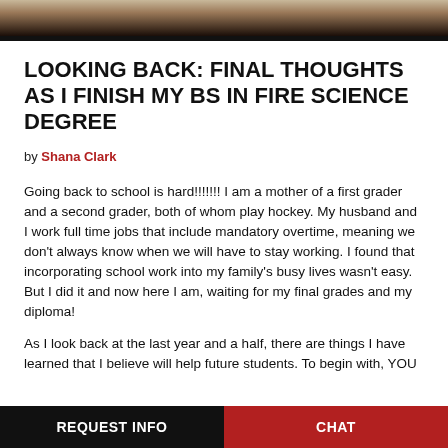[Figure (photo): Top banner photo showing books or educational materials, dark tones]
LOOKING BACK: FINAL THOUGHTS AS I FINISH MY BS IN FIRE SCIENCE DEGREE
by Shana Clark
Going back to school is hard!!!!!!!  I am a mother of a first grader and a second grader, both of whom play hockey.  My husband and I work full time jobs that include mandatory overtime, meaning we don't always know when we will have to stay working.  I found that incorporating school work into my family's busy lives wasn't easy.  But I did it and now here I am, waiting for my final grades and my diploma!
As I look back at the last year and a half, there are things I have learned that I believe will help future students.  To begin with, YOU
REQUEST INFO   CHAT